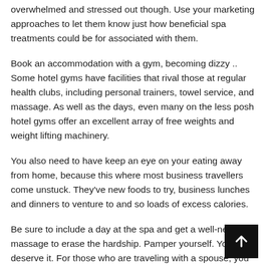overwhelmed and stressed out though. Use your marketing approaches to let them know just how beneficial spa treatments could be for associated with them.
Book an accommodation with a gym, becoming dizzy .. Some hotel gyms have facilities that rival those at regular health clubs, including personal trainers, towel service, and massage. As well as the days, even many on the less posh hotel gyms offer an excellent array of free weights and weight lifting machinery.
You also need to have keep an eye on your eating away from home, because this where most business travellers come unstuck. They've new foods to try, business lunches and dinners to venture to and so loads of excess calories.
Be sure to include a day at the spa and get a well-needed massage to erase the hardship. Pamper yourself. You deserve it. For those who are traveling with a spouse, you may have a